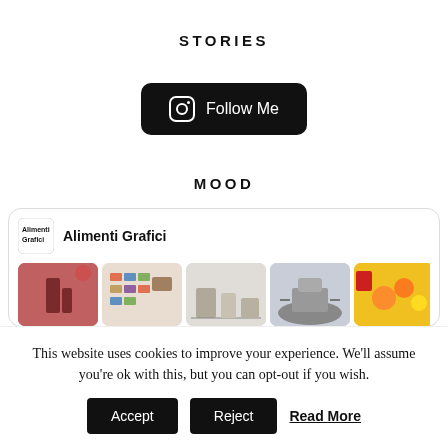STORIES
[Figure (other): Black rounded rectangle button with Instagram icon and text 'Follow Me' in white]
MOOD
[Figure (other): Mood card for 'Alimenti Grafici' with logo and a row of 5 thumbnail images]
This website uses cookies to improve your experience. We'll assume you're ok with this, but you can opt-out if you wish.
Accept   Reject   Read More